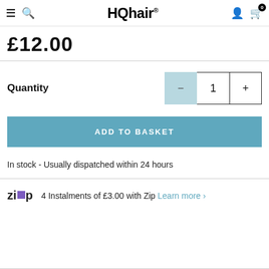HQhair
£12.00
Quantity 1
ADD TO BASKET
In stock - Usually dispatched within 24 hours
4 Instalments of £3.00 with Zip Learn more >